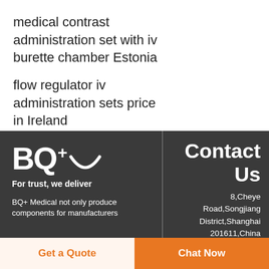medical contrast administration set with iv burette chamber Estonia
flow regulator iv administration sets price in Ireland
[Figure (logo): BQ+ logo with smiley arc and tagline 'For trust, we deliver']
For trust, we deliver
BQ+ Medical not only produce components for manufacturers
Contact Us
8,Cheye Road,Songjiang District,Shanghai 201611,China